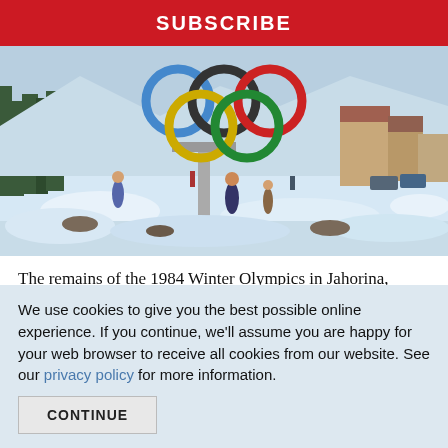SUBSCRIBE
[Figure (photo): Outdoor winter scene showing the Olympic rings sculpture in Jahorina, with snowy slopes, trees, and buildings visible in the background. People are standing near the base of the rings.]
The remains of the 1984 Winter Olympics in Jahorina, home to the women's slalom
It was with some trepidation that I stood at
We use cookies to give you the best possible online experience. If you continue, we'll assume you are happy for your web browser to receive all cookies from our website. See our privacy policy for more information.
CONTINUE